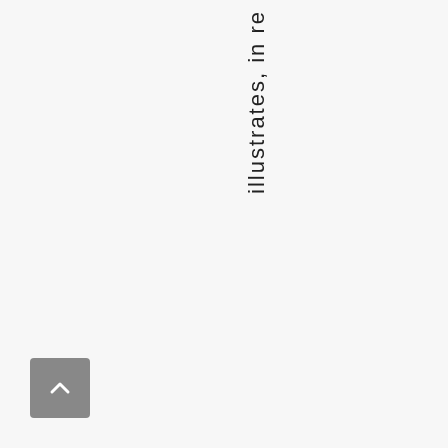illustrates, in re
[Figure (other): A grey scroll-to-top button with an upward-pointing chevron arrow, positioned in the bottom-left corner of the page.]